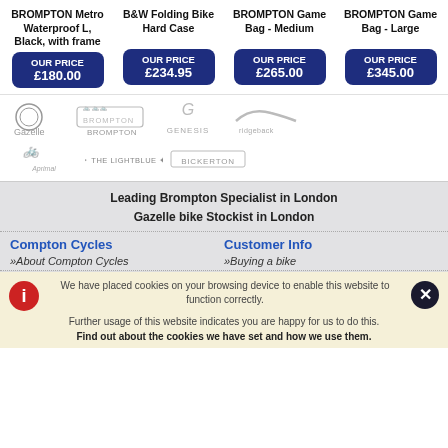BROMPTON Metro Waterproof L, Black, with frame OUR PRICE £180.00
B&W Folding Bike Hard Case OUR PRICE £234.95
BROMPTON Game Bag - Medium OUR PRICE £265.00
BROMPTON Game Bag - Large OUR PRICE £345.00
[Figure (logo): Gazelle logo]
[Figure (logo): Brompton logo]
[Figure (logo): Genesis logo]
[Figure (logo): Ridgeback logo]
[Figure (logo): Aprimal logo]
[Figure (logo): The Light Blue logo]
[Figure (logo): Bickerton logo]
Leading Brompton Specialist in London
Gazelle bike Stockist in London
Compton Cycles
Customer Info
»About Compton Cycles
»Buying a bike
We have placed cookies on your browsing device to enable this website to function correctly.
Further usage of this website indicates you are happy for us to do this.
Find out about the cookies we have set and how we use them.